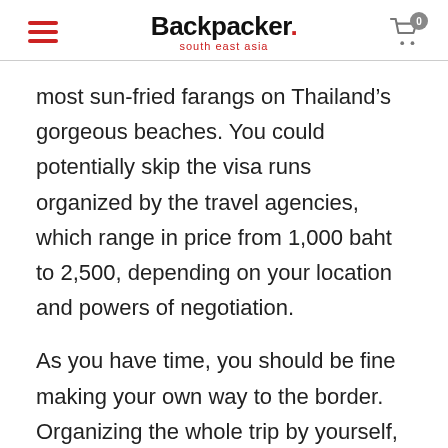Backpacker. south east asia
most sun-fried farangs on Thailand’s gorgeous beaches. You could potentially skip the visa runs organized by the travel agencies, which range in price from 1,000 baht to 2,500, depending on your location and powers of negotiation.
As you have time, you should be fine making your own way to the border. Organizing the whole trip by yourself, taking local/public buses, can save you up to 50% of the visa run fee. It’s also not that big a trip to do as a one for